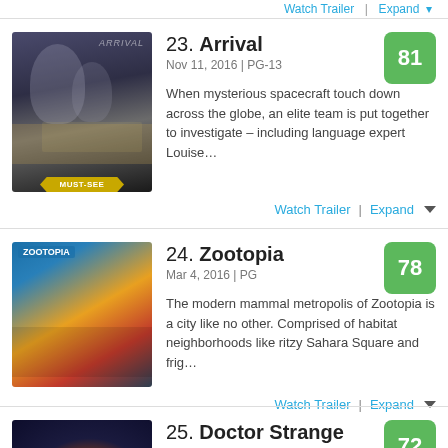Watch Trailer | Expand
23. Arrival
Nov 11, 2016 | PG-13
When mysterious spacecraft touch down across the globe, an elite team is put together to investigate – including language expert Louise…
Score: 81
24. Zootopia
Mar 4, 2016 | PG
The modern mammal metropolis of Zootopia is a city like no other. Comprised of habitat neighborhoods like ritzy Sahara Square and frig…
Score: 78
25. Doctor Strange
Nov 4, 2016 | PG-13
After a tragic car accident, talented neurosurgeon Doctor Stephen Strange (Benedict Cumberbatch) must put ego aside and learn the secrets of a…
Score: 72